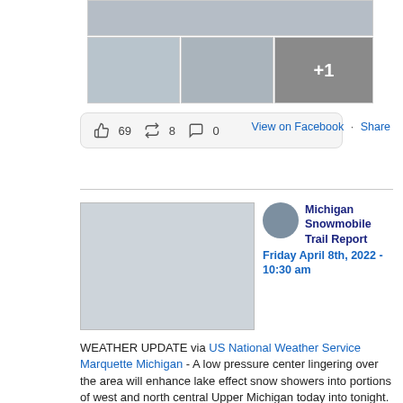[Figure (photo): Main wide photo of snowy road or trail]
[Figure (photo): Three thumbnail photos of snowmobile scenes; third has +1 overlay]
👍 69   ↗ 8   💬 0
View on Facebook · Share
[Figure (photo): Blank/placeholder image for second post]
[Figure (photo): Profile circle icon of snowmobile]
Michigan Snowmobile Trail Report
Friday April 8th, 2022 - 10:30 am
WEATHER UPDATE via US National Weather Service Marquette Michigan - A low pressure center lingering over the area will enhance lake effect snow showers into portions of west and north central Upper Michigan today into tonight. High